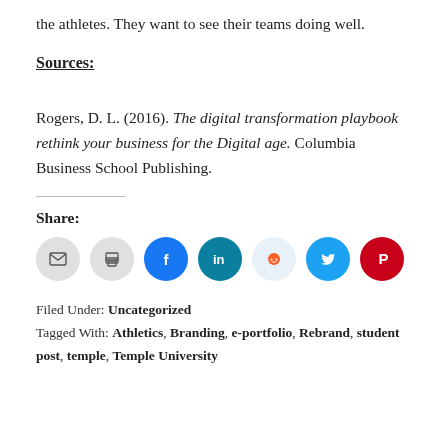the athletes. They want to see their teams doing well.
Sources:
Rogers, D. L. (2016). The digital transformation playbook rethink your business for the Digital age. Columbia Business School Publishing.
Share:
[Figure (other): Row of social media share icon buttons: email, print, Facebook, LinkedIn, Reddit, Twitter, Pinterest]
Filed Under: Uncategorized
Tagged With: Athletics, Branding, e-portfolio, Rebrand, student post, temple, Temple University